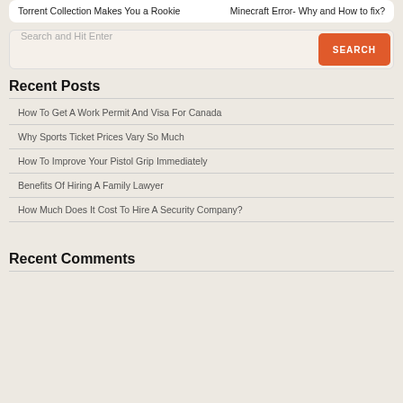Torrent Collection Makes You a Rookie
Minecraft Error- Why and How to fix?
Search and Hit Enter
Recent Posts
How To Get A Work Permit And Visa For Canada
Why Sports Ticket Prices Vary So Much
How To Improve Your Pistol Grip Immediately
Benefits Of Hiring A Family Lawyer
How Much Does It Cost To Hire A Security Company?
Recent Comments